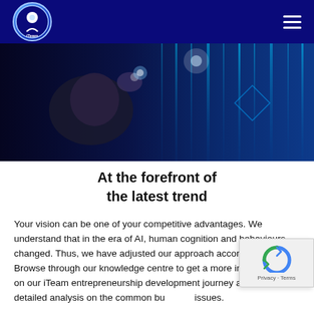iTeam logo and navigation bar
[Figure (photo): A dark technology-themed hero image showing a fist or hand pointing toward glowing blue digital lines and light effects on a dark background.]
At the forefront of the latest trend
Your vision can be one of your competitive advantages. We understand that in the era of AI, human cognition and behaviours changed. Thus, we have adjusted our approach accordingly. Browse through our knowledge centre to get a more in-depth insight on our iTeam entrepreneurship development journey as well as a detailed analysis on the common business issues.